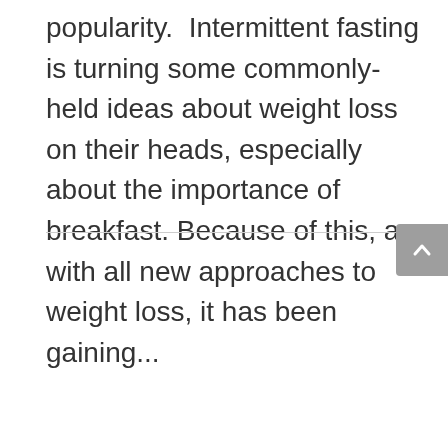popularity.  Intermittent fasting is turning some commonly-held ideas about weight loss on their heads, especially about the importance of breakfast. Because of this, as with all new approaches to weight loss, it has been gaining...